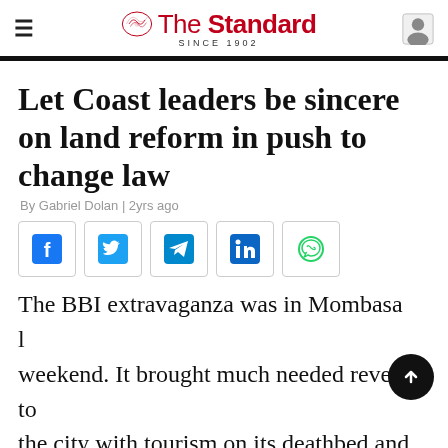The Standard | SINCE 1902
Let Coast leaders be sincere on land reform in push to change law
By Gabriel Dolan | 2yrs ago
[Figure (infographic): Social sharing buttons: Facebook, Twitter, Telegram, LinkedIn, WhatsApp]
The BBI extravaganza was in Mombasa last weekend. It brought much needed revenue to the city with tourism on its deathbed and